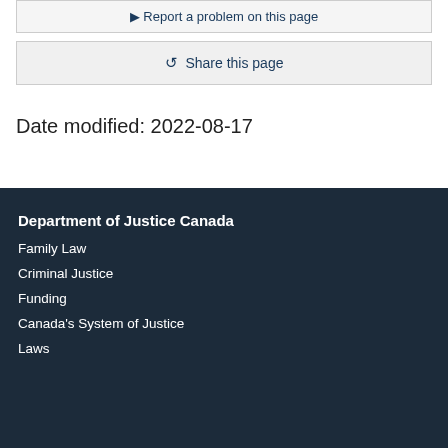▶ Report a problem on this page
Share this page
Date modified: 2022-08-17
Department of Justice Canada
Family Law
Criminal Justice
Funding
Canada's System of Justice
Laws